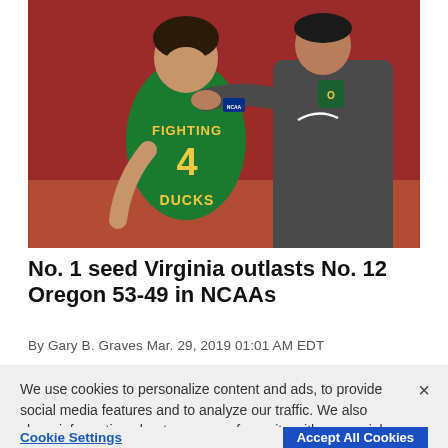[Figure (photo): A basketball player in a green Oregon Ducks #4 jersey labeled 'FIGHTING DUCKS' appears emotional, being consoled by a coach in a gray Oregon hoodie with Nike logo, on a court with a red background.]
No. 1 seed Virginia outlasts No. 12 Oregon 53-49 in NCAAs
By Gary B. Graves Mar. 29, 2019 01:01 AM EDT
We use cookies to personalize content and ads, to provide social media features and to analyze our traffic. We also share information about your use of our site with our social media, advertising and analytics partners. Privacy Policy
Cookie Settings | Accept All Cookies